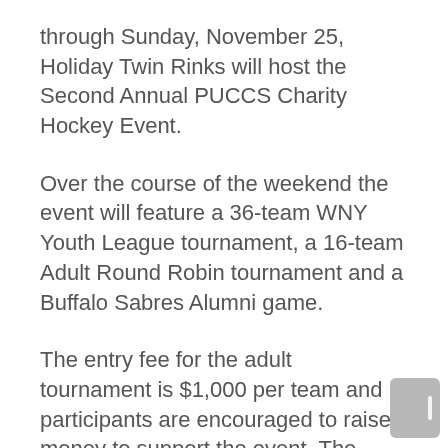through Sunday, November 25, Holiday Twin Rinks will host the Second Annual PUCCS Charity Hockey Event.
Over the course of the weekend the event will feature a 36-team WNY Youth League tournament, a 16-team Adult Round Robin tournament and a Buffalo Sabres Alumni game.
The entry fee for the adult tournament is $1,000 per team and participants are encouraged to raise money to support the event. The team that raises the most money is rewarded with an opportunity to showdown against the Sabres Alumni.
“Our vision is to use the imaging resources available in medicine to develop the most accurate tools to